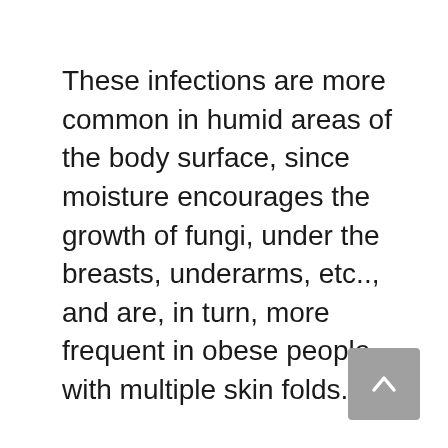These infections are more common in humid areas of the body surface, since moisture encourages the growth of fungi, under the breasts, underarms, etc.., and are, in turn, more frequent in obese people with multiple skin folds.
[Figure (other): Scroll-to-top button: a grey rounded square with an upward-pointing chevron arrow]